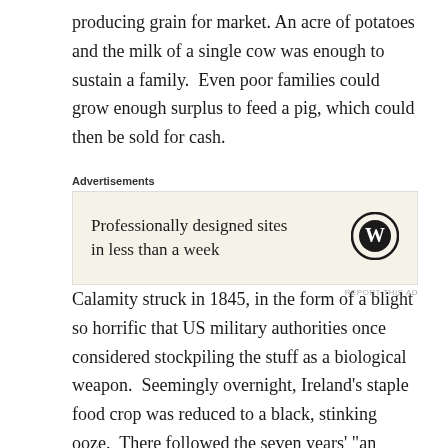producing grain for market. An acre of potatoes and the milk of a single cow was enough to sustain a family. Even poor families could grow enough surplus to feed a pig, which could then be sold for cash.
[Figure (other): WordPress advertisement banner with text 'Professionally designed sites in less than a week' and WordPress logo on a beige background]
Calamity struck in 1845, in the form of a blight so horrific that US military authorities once considered stockpiling the stuff as a biological weapon. Seemingly overnight, Ireland’s staple food crop was reduced to a black, stinking ooze. There followed the seven years’ “an Gorta Mór”, “the Great Hunger”, killing over a million Irish and reducing the population by 20-25% through death and emigration. Throughout the Irish